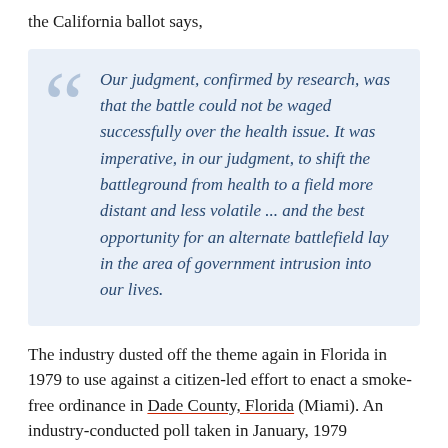the California ballot says,
Our judgment, confirmed by research, was that the battle could not be waged successfully over the health issue. It was imperative, in our judgment, to shift the battleground from health to a field more distant and less volatile ... and the best opportunity for an alternate battlefield lay in the area of government intrusion into our lives.
The industry dusted off the theme again in Florida in 1979 to use against a citizen-led effort to enact a smoke-free ordinance in Dade County, Florida (Miami). An industry-conducted poll taken in January, 1979